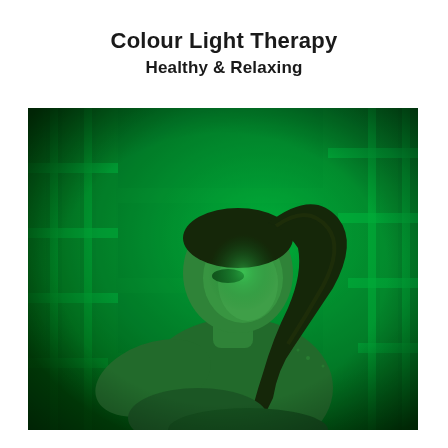Colour Light Therapy
Healthy & Relaxing
[Figure (photo): A woman with a high ponytail sitting in a sauna bathed in green colour light therapy, eyes downcast, bare shoulders, with wooden sauna slat walls visible in the background.]